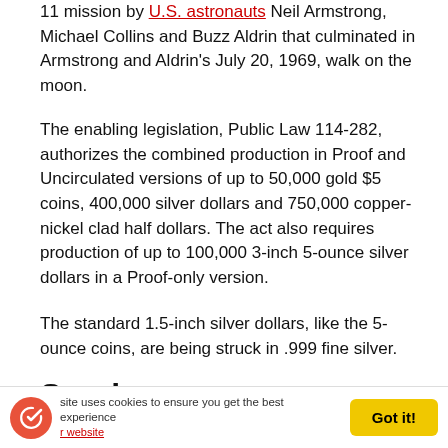11 mission by U.S. astronauts Neil Armstrong, Michael Collins and Buzz Aldrin that culminated in Armstrong and Aldrin's July 20, 1969, walk on the moon.
The enabling legislation, Public Law 114-282, authorizes the combined production in Proof and Uncirculated versions of up to 50,000 gold $5 coins, 400,000 silver dollars and 750,000 copper-nickel clad half dollars. The act also requires production of up to 100,000 3-inch 5-ounce silver dollars in a Proof-only version.
The standard 1.5-inch silver dollars, like the 5-ounce coins, are being struck in .999 fine silver. It is the first time a U.S. commemorative silver dollar is being struck in .999 fine silver instead of the standard .900 fine silver as with previous commemorative silver dollar coins.
Surcharges
This site uses cookies to ensure you get the best experience on our website